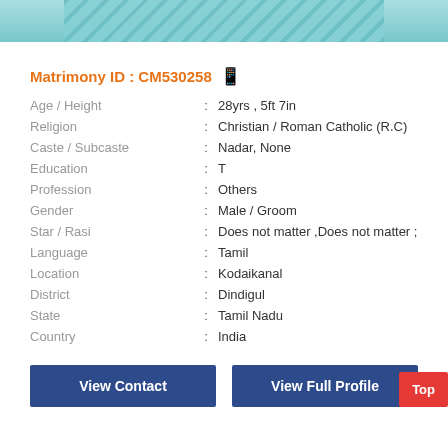[Figure (photo): Top portion of a decorative fabric/textile with blue polka dot pattern]
Matrimony ID : CM530258
| Age / Height | : | 28yrs , 5ft 7in |
| Religion | : | Christian / Roman Catholic (R.C) |
| Caste / Subcaste | : | Nadar, None |
| Education | : | T |
| Profession | : | Others |
| Gender | : | Male / Groom |
| Star / Rasi | : | Does not matter ,Does not matter ; |
| Language | : | Tamil |
| Location | : | Kodaikanal |
| District | : | Dindigul |
| State | : | Tamil Nadu |
| Country | : | India |